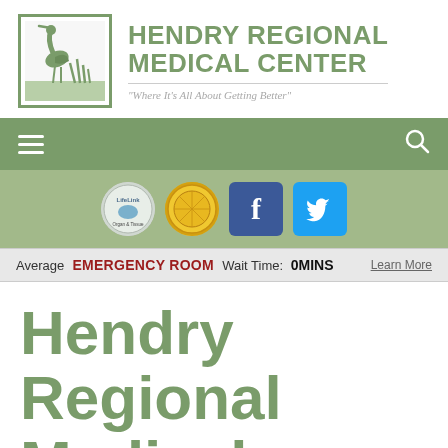[Figure (logo): Hendry Regional Medical Center logo with heron bird in a square border beside the text HENDRY REGIONAL MEDICAL CENTER and tagline Where It's All About Getting Better]
[Figure (infographic): Navigation bar with hamburger menu and search icon on green background, followed by social/badge icons bar with LifeLink badge, gold badge, Facebook button, Twitter button]
Average EMERGENCY ROOM Wait Time: 0MINS   Learn More
Hendry Regional Medical Center